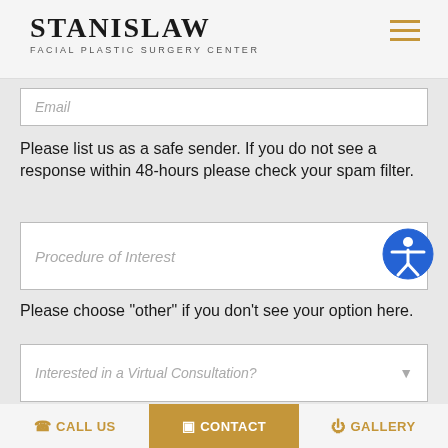STANISLAW FACIAL PLASTIC SURGERY CENTER
Email
Please list us as a safe sender. If you do not see a response within 48-hours please check your spam filter.
Procedure of Interest
Please choose "other" if you don't see your option here.
Interested in a Virtual Consultation?
Write a message
CALL US  CONTACT  GALLERY